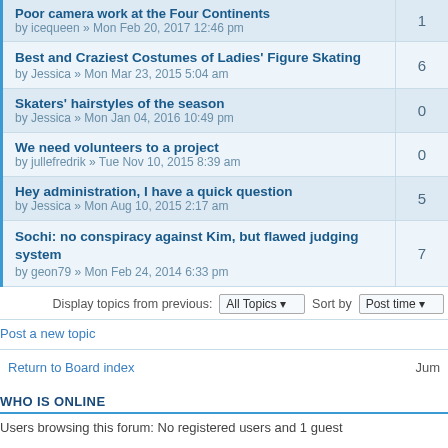| Topic | Replies |
| --- | --- |
| Poor camera work at the Four Continents
by icequeen » Mon Feb 20, 2017 12:46 pm | 1 |
| Best and Craziest Costumes of Ladies' Figure Skating
by Jessica » Mon Mar 23, 2015 5:04 am | 6 |
| Skaters' hairstyles of the season
by Jessica » Mon Jan 04, 2016 10:49 pm | 0 |
| We need volunteers to a project
by jullefredrik » Tue Nov 10, 2015 8:39 am | 0 |
| Hey administration, I have a quick question
by Jessica » Mon Aug 10, 2015 2:17 am | 5 |
| Sochi: no conspiracy against Kim, but flawed judging system
by geon79 » Mon Feb 24, 2014 6:33 pm | 7 |
Display topics from previous: All Topics  Sort by Post time
Post a new topic
Return to Board index   Jum
WHO IS ONLINE
Users browsing this forum: No registered users and 1 guest
FORUM PERMISSIONS